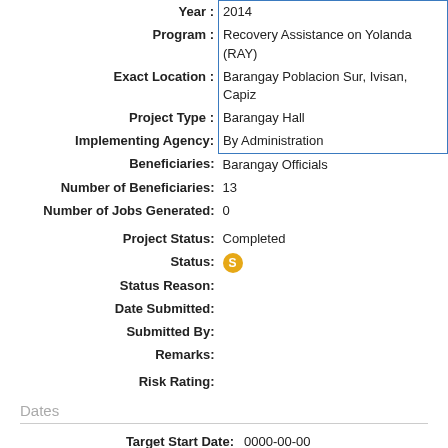| Field | Value |
| --- | --- |
| Year : | 2014 (partial, cropped) |
| Program : | Recovery Assistance on Yolanda (RAY) |
| Exact Location : | Barangay Poblacion Sur, Ivisan, Capiz |
| Project Type : | Barangay Hall |
| Implementing Agency: | By Administration |
| Beneficiaries: | Barangay Officials |
| Number of Beneficiaries: | 13 |
| Number of Jobs Generated: | 0 |
| Project Status: | Completed |
| Status: | S (icon) |
| Status Reason: |  |
| Date Submitted: |  |
| Submitted By: |  |
| Remarks: |  |
| Risk Rating: |  |
Dates
| Field | Value |
| --- | --- |
| Target Start Date: | 0000-00-00 |
| Target Completion Date: | 0000-00-00 |